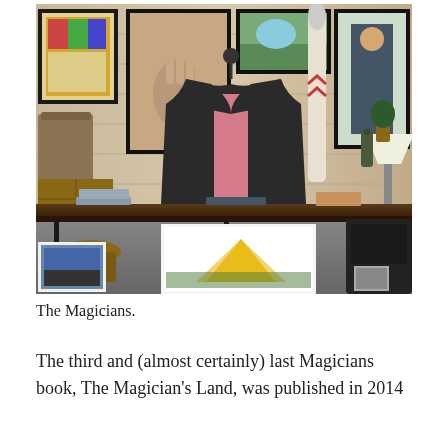[Figure (photo): Interior of a rustic retail shop with light wood plank walls. Various framed artworks hang on the wall including a hand painting, landscape, and portrait. A dark blazer jacket hangs on a hook with a pink dress shirt. A decorative paddle leans against the wall. A long wooden shelf/bench displays folded clothing, bags, and other merchandise. Below the shelf are additional framed prints and accessories on the floor.]
The Magicians.
The third and (almost certainly) last Magicians book, The Magician's Land, was published in 2014